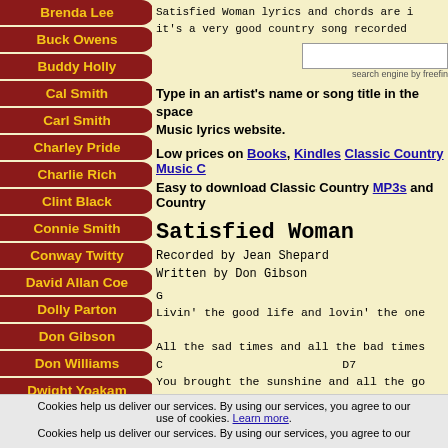Brenda Lee
Buck Owens
Buddy Holly
Cal Smith
Carl Smith
Charley Pride
Charlie Rich
Clint Black
Connie Smith
Conway Twitty
David Allan Coe
Dolly Parton
Don Gibson
Don Williams
Dwight Yoakam
Satisfied Woman lyrics and chords are i it's a very good country song recorded
Type in an artist's name or song title in the space Music lyrics website.
Low prices on Books, Kindles Classic Country Music C
Easy to download Classic Country MP3s and Country
Satisfied Woman
Recorded by Jean Shepard
Written by Don Gibson
G
Livin' the good life and lovin' the one
All the sad times and all the bad times
C                          D7
You brought the sunshine and all the go
Cookies help us deliver our services. By using our services, you agree to our use of cookies. Learn more.
Cookies help us deliver our services. By using our services, you agree to our